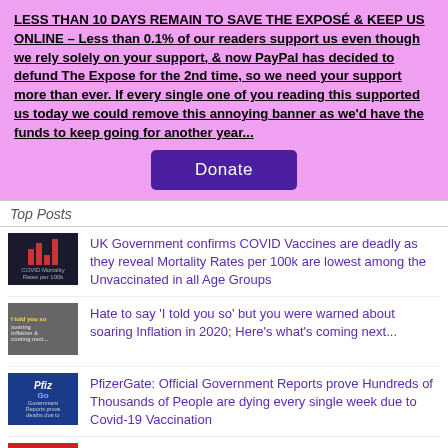LESS THAN 10 DAYS REMAIN TO SAVE THE EXPOSÉ & KEEP US ONLINE – Less than 0.1% of our readers support us even though we rely solely on your support, & now PayPal has decided to defund The Expose for the 2nd time, so we need your support more than ever. If every single one of you reading this supported us today we could remove this annoying banner as we'd have the funds to keep going for another year...
Donate
Top Posts
UK Government confirms COVID Vaccines are deadly as they reveal Mortality Rates per 100k are lowest among the Unvaccinated in all Age Groups
Hate to say 'I told you so' but you were warned about soaring Inflation in 2020; Here's what's coming next...
PfizerGate: Official Government Reports prove Hundreds of Thousands of People are dying every single week due to Covid-19 Vaccination
U.S. Government data confirms a 143,233% increase in Cancer cases due to COVID Vaccination
Pfizer's Clinical Trial Results suggest COVID Vaccination can